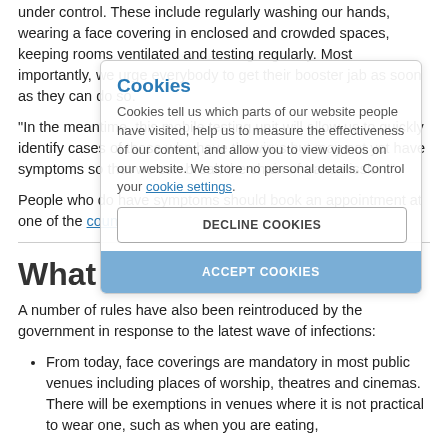under control. These include regularly washing our hands, wearing a face covering in enclosed and crowded spaces, keeping rooms ventilated and testing regularly. Most importantly, we urge everybody to get their booster jab as soon as they can do so.
“In the meantime, this mobile testing unit will allow us to quickly identify cases of those who have the virus but may not yet have symptoms so that we can break the chain of transmission.”
People who do have symptoms should book an appointment at one of the county’s symptom testing facilities.
What are the new rules?
A number of rules have also been reintroduced by the government in response to the latest wave of infections:
From today, face coverings are mandatory in most public venues including places of worship, theatres and cinemas. There will be exemptions in venues where it is not practical to wear one, such as when you are eating,
[Figure (screenshot): Cookie consent overlay with title 'Cookies', description text about cookies, 'DECLINE COOKIES' button, and 'ACCEPT COOKIES' button]